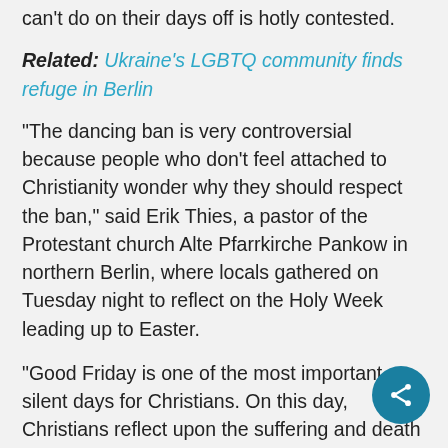can't do on their days off is hotly contested.
Related: Ukraine's LGBTQ community finds refuge in Berlin
“The dancing ban is very controversial because people who don’t feel attached to Christianity wonder why they should respect the ban,” said Erik Thies, a pastor of the Protestant church Alte Pfarrkirche Pankow in northern Berlin, where locals gathered on Tuesday night to reflect on the Holy Week leading up to Easter.
“Good Friday is one of the most important silent days for Christians. On this day, Christians reflect upon the suffering and death of Jesus, and dancing and celebrating just don’t fit,” he sa…